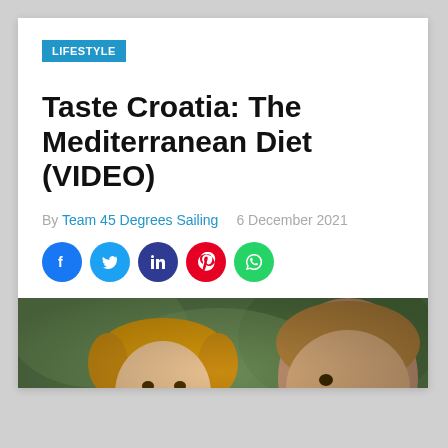LIFESTYLE
Taste Croatia: The Mediterranean Diet (VIDEO)
By Team 45 Degrees Sailing    6 December 2021
[Figure (other): Social share icons: Facebook, Twitter, LinkedIn, Pinterest, WhatsApp]
[Figure (photo): Close-up photo of two children outdoors with green foliage background, slightly blurred]